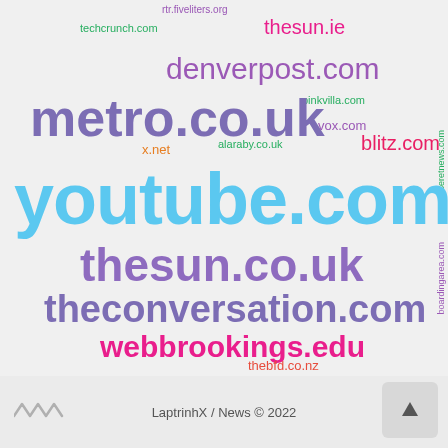[Figure (infographic): Word cloud of website domain names in various colors and font sizes, with larger text indicating more prominent/frequent domains. Domains include youtube.com, metro.co.uk, thesun.co.uk, theconversation.com, webbrookings.edu, denverpost.com, thesun.ie, blitz.com, vox.com, pinkvilla.com, techcrunch.com, alaraby.co.uk, x.net, rt.com, thebfd.co.nz, clutchpoints.com, deseretnews.com, boardingarea.com, rtr.fiveliters.org]
LaptrinhX / News © 2022